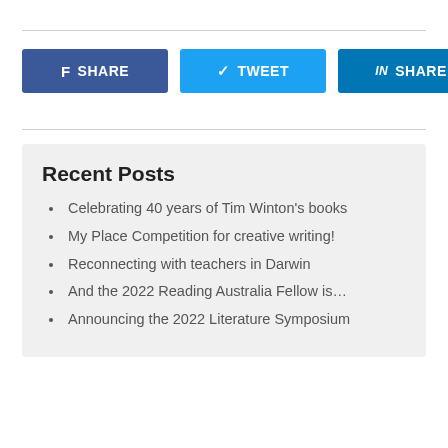[Figure (other): Social share buttons row: Facebook SHARE (dark blue), Twitter TWEET (light blue), LinkedIn SHARE (medium blue)]
Recent Posts
Celebrating 40 years of Tim Winton's books
My Place Competition for creative writing!
Reconnecting with teachers in Darwin
And the 2022 Reading Australia Fellow is…
Announcing the 2022 Literature Symposium